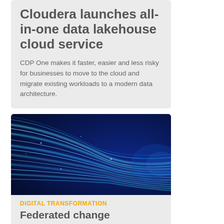Cloudera launches all-in-one data lakehouse cloud service
CDP One makes it faster, easier and less risky for businesses to move to the cloud and migrate existing workloads to a modern data architecture.
[Figure (photo): Abstract digital technology image showing glowing blue lines/streams converging on a dark navy background, representing digital transformation or high-speed data flow.]
DIGITAL TRANSFORMATION
Federated change